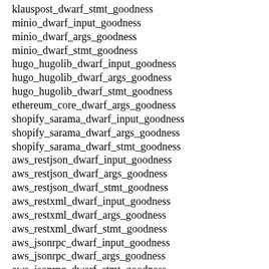klauspost_dwarf_stmt_goodness
minio_dwarf_input_goodness
minio_dwarf_args_goodness
minio_dwarf_stmt_goodness
hugo_hugolib_dwarf_input_goodness
hugo_hugolib_dwarf_args_goodness
hugo_hugolib_dwarf_stmt_goodness
ethereum_core_dwarf_args_goodness
shopify_sarama_dwarf_input_goodness
shopify_sarama_dwarf_args_goodness
shopify_sarama_dwarf_stmt_goodness
aws_restjson_dwarf_input_goodness
aws_restjson_dwarf_args_goodness
aws_restjson_dwarf_stmt_goodness
aws_restxml_dwarf_input_goodness
aws_restxml_dwarf_args_goodness
aws_restxml_dwarf_stmt_goodness
aws_jsonrpc_dwarf_input_goodness
aws_jsonrpc_dwarf_args_goodness
aws_jsonrpc_dwarf_stmt_goodness
aws_jsonutil_dwarf_input_goodness
aws_jsonutil_dwarf_args_goodness